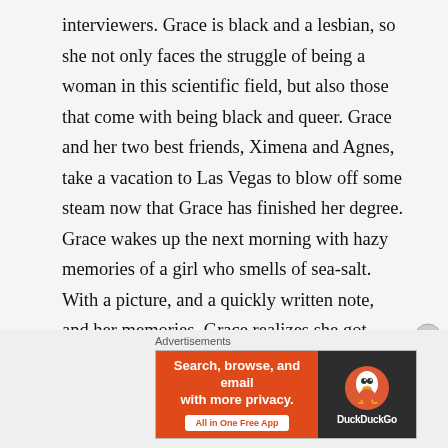interviewers. Grace is black and a lesbian, so she not only faces the struggle of being a woman in this scientific field, but also those that come with being black and queer. Grace and her two best friends, Ximena and Agnes, take a vacation to Las Vegas to blow off some steam now that Grace has finished her degree. Grace wakes up the next morning with hazy memories of a girl who smells of sea-salt. With a picture, and a quickly written note, and her memories, Grace realizes she got married the night before to someone whose name she can't even remember. After returning home, she receives rejection after rejection from jobs she's interviewed for. She feels lost, but she doesn't know
[Figure (other): DuckDuckGo advertisement banner: 'Search, browse, and email with more privacy. All in One Free App' on orange background with DuckDuckGo logo on dark background]